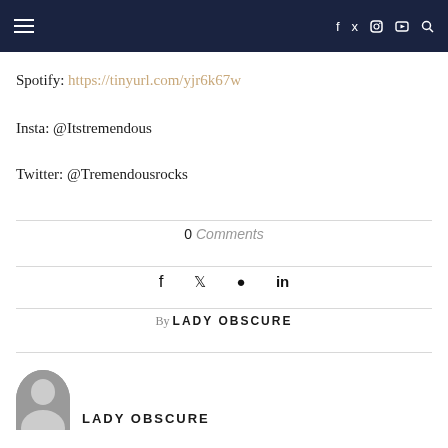Navigation bar with hamburger menu and social icons (f, twitter, instagram, youtube, search)
Spotify: https://tinyurl.com/yjr6k67w
Insta: @Itstremendous
Twitter: @Tremendousrocks
0 Comments
f  ❤  in
By LADY OBSCURE
LADY OBSCURE